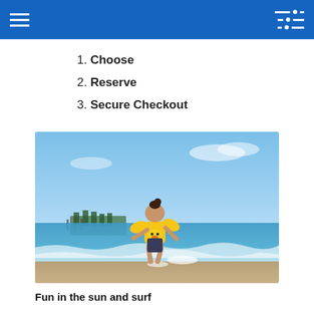Navigation header with hamburger menu and filter icon
1. Choose
2. Reserve
3. Secure Checkout
[Figure (photo): A young child wearing a yellow duck-shaped inflatable float vest playing in shallow ocean waves on a sunny beach, with palm trees and a pier visible in the background.]
Fun in the sun and surf